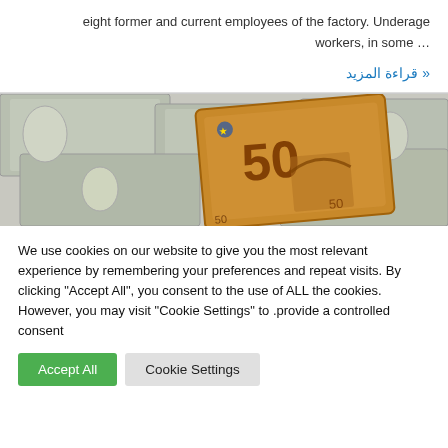eight former and current employees of the factory. Underage … workers, in some
قراءة المزيد «
[Figure (photo): A 50 Euro banknote standing upright on top of a spread of US dollar bills, close-up shot with shallow depth of field.]
We use cookies on our website to give you the most relevant experience by remembering your preferences and repeat visits. By clicking "Accept All", you consent to the use of ALL the cookies. However, you may visit "Cookie Settings" to provide a controlled consent.